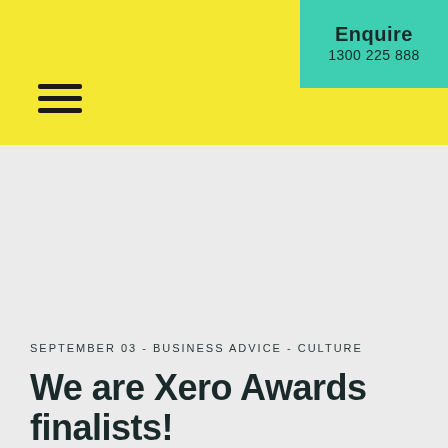Enquire
1300 225 888
[Figure (other): Hamburger menu icon (three horizontal lines)]
[Figure (photo): Large grey/light background content area placeholder]
SEPTEMBER 03 - BUSINESS ADVICE - CULTURE
We are Xero Awards finalists!